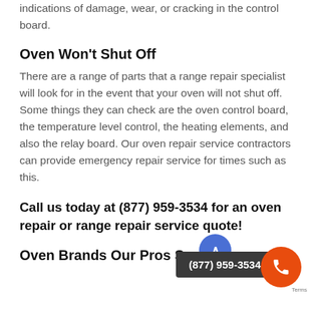indications of damage, wear, or cracking in the control board.
Oven Won't Shut Off
There are a range of parts that a range repair specialist will look for in the event that your oven will not shut off. Some things they can check are the oven control board, the temperature level control, the heating elements, and also the relay board. Our oven repair service contractors can provide emergency repair service for times such as this.
Call us today at (877) 959-3534 for an oven repair or range repair service quote!
Oven Brands Our Pros Serv…